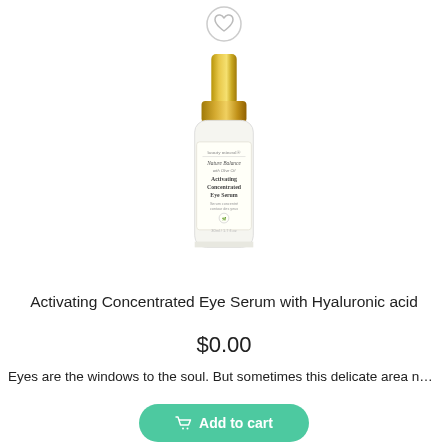[Figure (photo): Product photo of beauty mineral Nature Balance Activating Concentrated Eye Serum bottle with gold pump cap and white body]
Activating Concentrated Eye Serum with Hyaluronic acid
$0.00
Eyes are the windows to the soul. But sometimes this delicate area nee...